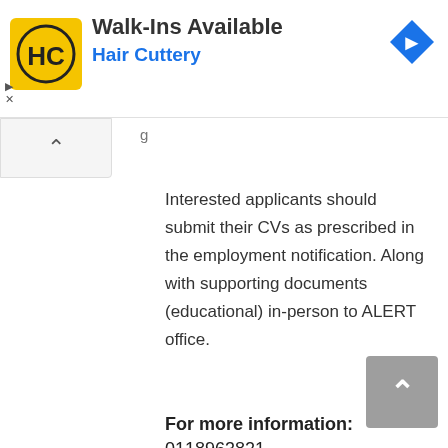[Figure (logo): Hair Cuttery advertisement banner with yellow HC logo, title 'Walk-Ins Available', subtitle 'Hair Cuttery', and a blue navigation arrow icon]
Interested applicants should submit their CVs as prescribed in the employment notification. Along with supporting documents (educational) in-person to ALERT office.
For more information: 0118963821